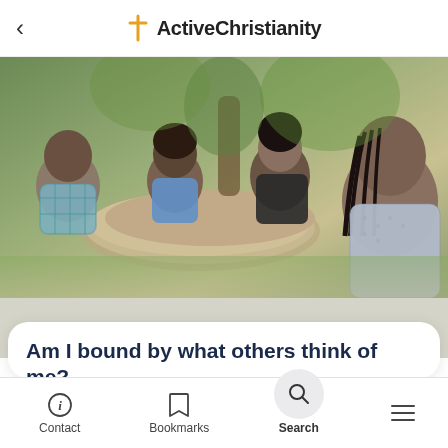ActiveChristianity
[Figure (photo): Photo of several people (women) sitting around an outdoor stone/concrete round table, having a conversation in a park or garden setting. One woman on the right looks pensively to the side.]
Am I bound by what others think of me?
Seeking praise from people causes a lot of unrest, but it lies deeply in every human being. How can we become free from it?
Contact   Bookmarks   Search